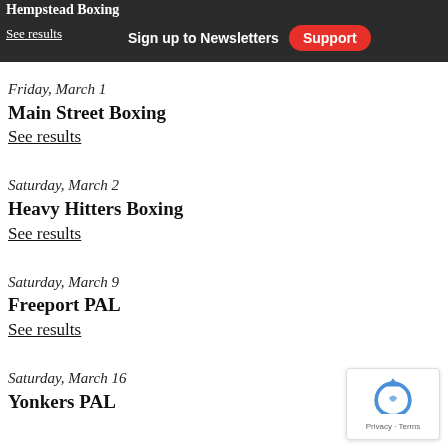Hempstead Boxing | See results | Sign up to Newsletters | Support
Friday, March 1
Main Street Boxing
See results
Saturday, March 2
Heavy Hitters Boxing
See results
Saturday, March 9
Freeport PAL
See results
Saturday, March 16
Yonkers PAL